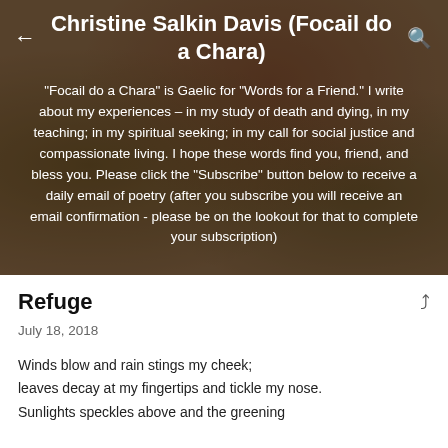Christine Salkin Davis (Focail do a Chara)
"Focail do a Chara" is Gaelic for "Words for a Friend." I write about my experiences – in my study of death and dying, in my teaching; in my spiritual seeking; in my call for social justice and compassionate living. I hope these words find you, friend, and bless you. Please click the "Subscribe" button below to receive a daily email of poetry (after you subscribe you will receive an email confirmation - please be on the lookout for that to complete your subscription)
Refuge
July 18, 2018
Winds blow and rain stings my cheek;
leaves decay at my fingertips and tickle my nose.
Sunlights speckles above and the greening